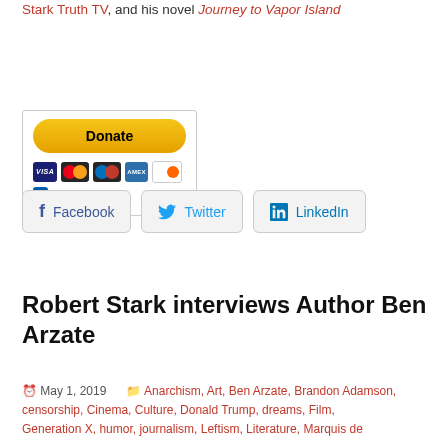Stark Truth TV, and his novel Journey to Vapor Island
[Figure (other): PayPal Donate button with credit card icons (Visa, Mastercard, Maestro, American Express, Discover, etc.)]
[Figure (infographic): Social share buttons: Facebook, Twitter, LinkedIn]
Robert Stark interviews Author Ben Arzate
May 1, 2019   Anarchism, Art, Ben Arzate, Brandon Adamson, censorship, Cinema, Culture, Donald Trump, dreams, Film, Generation X, humor, journalism, Leftism, Literature, Marquis de